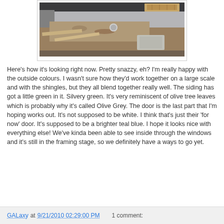[Figure (photo): Construction site photo showing a building foundation area with dirt, gravel, lumber boards, and what appears to be a concrete or metal structure partially visible at top right.]
Here's how it's looking right now. Pretty snazzy, eh? I'm really happy with the outside colours. I wasn't sure how they'd work together on a large scale and with the shingles, but they all blend together really well. The siding has got a little green in it. Silvery green. It's very reminiscent of olive tree leaves which is probably why it's called Olive Grey. The door is the last part that I'm hoping works out. It's not supposed to be white. I think that's just their 'for now' door. It's supposed to be a brighter teal blue. I hope it looks nice with everything else! We've kinda been able to see inside through the windows and it's still in the framing stage, so we definitely have a ways to go yet.
GALaxy at 9/21/2010 02:29:00 PM   1 comment: